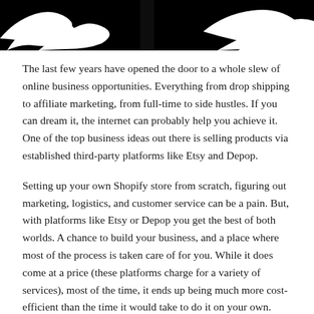[Figure (illustration): Black and white decorative image showing stylized white shapes on a black background, partially visible at the top of the page.]
The last few years have opened the door to a whole slew of online business opportunities. Everything from drop shipping to affiliate marketing, from full-time to side hustles. If you can dream it, the internet can probably help you achieve it. One of the top business ideas out there is selling products via established third-party platforms like Etsy and Depop.
Setting up your own Shopify store from scratch, figuring out marketing, logistics, and customer service can be a pain. But, with platforms like Etsy or Depop you get the best of both worlds. A chance to build your business, and a place where most of the process is taken care of for you. While it does come at a price (these platforms charge for a variety of services), most of the time, it ends up being much more cost-efficient than the time it would take to do it on your own.